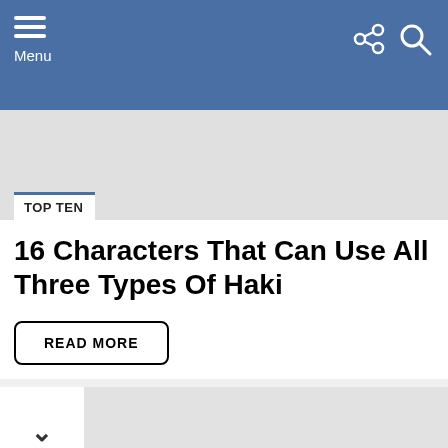Menu
TOP TEN
16 Characters That Can Use All Three Types Of Haki
READ MORE
Advertising